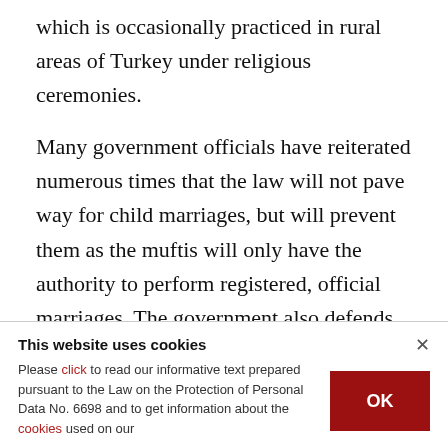which is occasionally practiced in rural areas of Turkey under religious ceremonies.
Many government officials have reiterated numerous times that the law will not pave way for child marriages, but will prevent them as the muftis will only have the authority to perform registered, official marriages. The government also defends the law on the grounds that it will facilitate marriage procedures.
This website uses cookies
Please click to read our informative text prepared pursuant to the Law on the Protection of Personal Data No. 6698 and to get information about the cookies used on our